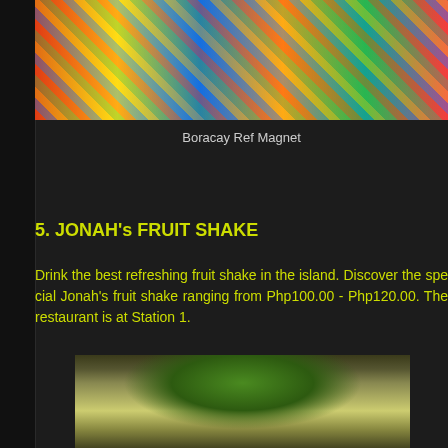[Figure (photo): Colorful Boracay souvenir ref magnets displayed together]
Boracay Ref Magnet
5. JONAH's FRUIT SHAKE
Drink the best refreshing fruit shake in the island. Discover the special Jonah's fruit shake ranging from Php100.00 - Php120.00. The restaurant is at Station 1.
[Figure (photo): Close-up of a fruit shake in a bottle with a green cap and straw]